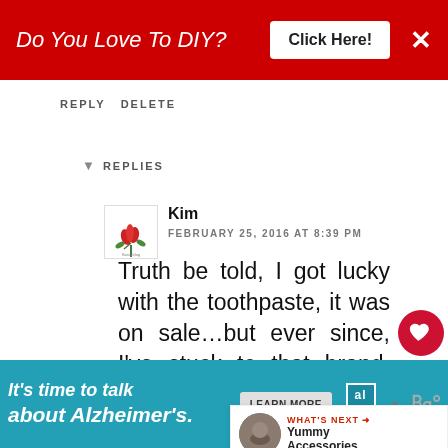[Figure (screenshot): Red banner advertisement: 'Do You Love To DIY?' with white 'Click Here!' button and white X close button]
REPLY   DELETE
▼   REPLIES
[Figure (logo): Small blog avatar with flowers/tulips design]
Kim
FEBRUARY 25, 2016 AT 8:39 PM
Truth be told, I got lucky with the toothpaste, it was on sale…but ever since, I've stuck to that brand. OCD fo. sure!! :)
DELETE
[Figure (screenshot): Teal/blue banner advertisement: 'It's time to talk about Alzheimer's.' with LEARN MORE button and Alzheimer's Association logo]